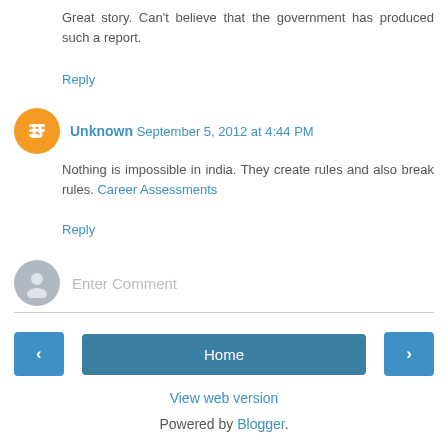Great story. Can't believe that the government has produced such a report.
Reply
Unknown  September 5, 2012 at 4:44 PM
Nothing is impossible in india. They create rules and also break rules. Career Assessments
Reply
[Figure (other): Comment input box with gray user avatar and placeholder text 'Enter Comment']
[Figure (other): Navigation bar with left arrow button, Home button, and right arrow button]
View web version
Powered by Blogger.